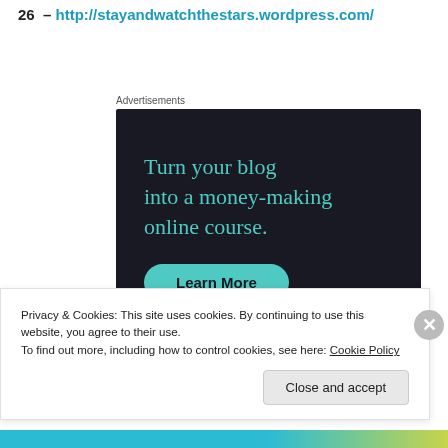26 – http://stayandwatchthestars.wordpress.com/
Advertisements
[Figure (other): Dark advertisement banner with teal text reading 'Turn your blog into a money-making online course.' and a teal 'Learn More' button on a dark navy background.]
Privacy & Cookies: This site uses cookies. By continuing to use this website, you agree to their use.
To find out more, including how to control cookies, see here: Cookie Policy
Close and accept